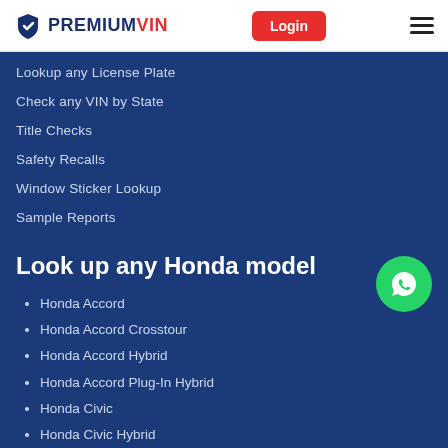PREMIUMVIN | Login
Lookup any License Plate
Check any VIN by State
Title Checks
Safety Recalls
Window Sticker Lookup
Sample Reports
Look up any Honda model
Honda Accord
Honda Accord Crosstour
Honda Accord Hybrid
Honda Accord Plug-In Hybrid
Honda Civic
Honda Civic Hybrid